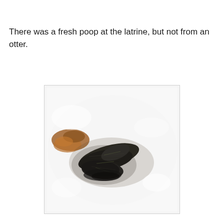There was a fresh poop at the latrine, but not from an otter.
[Figure (photo): Close-up photograph of dark grey/black animal scat (feces) on snow, with some brownish leaf litter visible to the left side. The scat appears moist and contains fibrous material, set against a white snowy background.]